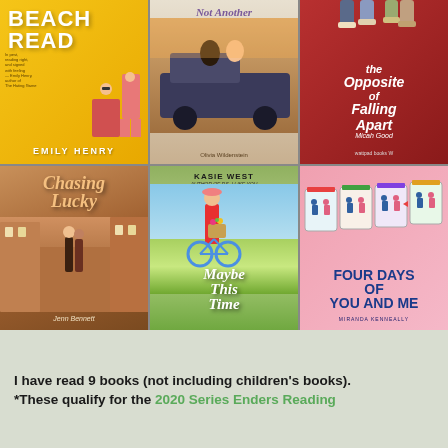[Figure (illustration): A 2x3 grid of book covers: Row 1: 'Beach Read' by Emily Henry (yellow cover), 'Not Another Love Song' by Olivia Wildenstein (romantic photo cover), 'The Opposite of Falling Apart' by Micah Good (red cover). Row 2: 'Chasing Lucky' by Jenn Bennett (warm street photo cover), 'Maybe This Time' by Kasie West (green pastoral cover), 'Four Days of You and Me' by Miranda Kenneally (pink illustrated cover).]
I have read 9 books (not including children's books).
*These qualify for the 2020 Series Enders Reading